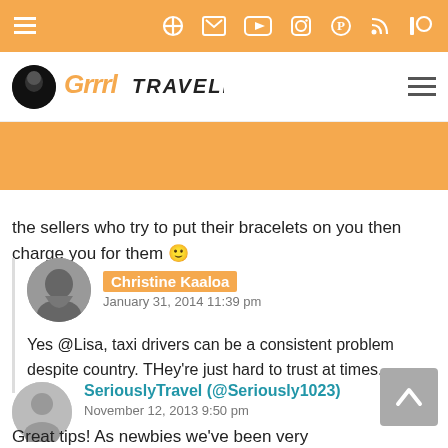Grrrl Traveler navigation bar with social icons
the sellers who try to put their bracelets on you then charge you for them 🙂
Christine Kaaloa
January 31, 2014 11:39 pm
Yes @Lisa, taxi drivers can be a consistent problem despite country. THey're just hard to trust at times.
SeriouslyTravel (@Seriously1023)
November 12, 2013 9:50 pm
Great tips! As newbies we've been very lucky so far but are waiting for the first time we'll experience the
[Figure (screenshot): Scroll to top button with upward arrow]